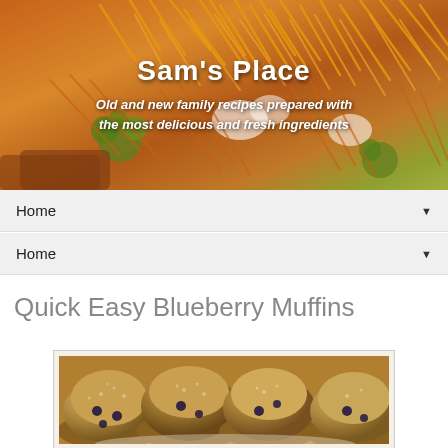[Figure (photo): Header banner photo showing a colorful food dish with shredded carrots, broccoli, and other fresh ingredients on top of toast/bread]
Sam's Place
Old and new family recipes prepared with the most delicious and fresh ingredients
Home ▼
Home ▼
Quick Easy Blueberry Muffins
[Figure (photo): Close-up photo of blueberry muffins with sugar-dusted tops and visible blueberries]